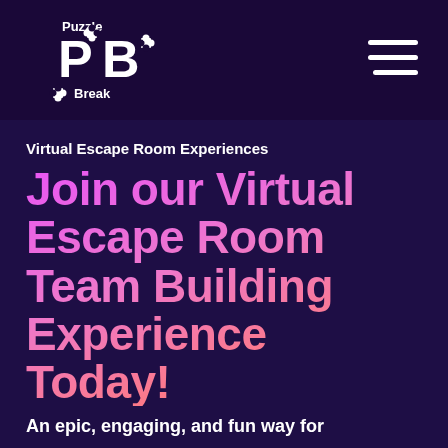[Figure (logo): Puzzle Break logo with 'PB' letters and puzzle piece icons, white on dark purple background]
[Figure (other): Hamburger menu icon (three white horizontal lines) in top right corner]
Virtual Escape Room Experiences
Join our Virtual Escape Room Team Building Experience Today!
An epic, engaging, and fun way for